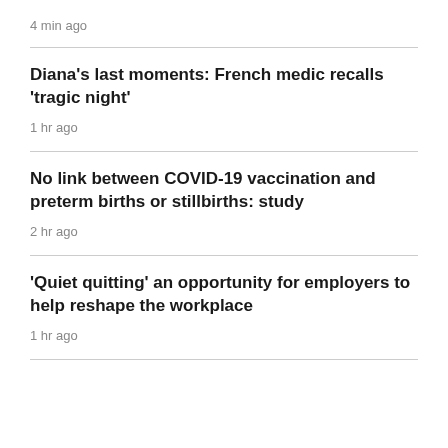4 min ago
Diana's last moments: French medic recalls 'tragic night'
1 hr ago
No link between COVID-19 vaccination and preterm births or stillbirths: study
2 hr ago
'Quiet quitting' an opportunity for employers to help reshape the workplace
1 hr ago